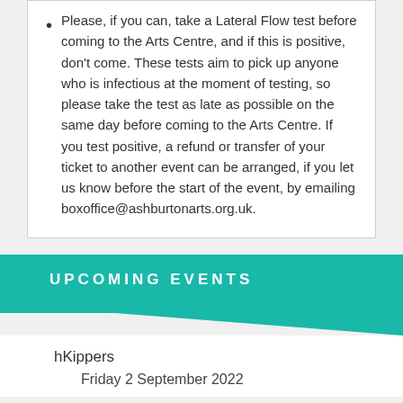Please, if you can, take a Lateral Flow test before coming to the Arts Centre, and if this is positive, don't come. These tests aim to pick up anyone who is infectious at the moment of testing, so please take the test as late as possible on the same day before coming to the Arts Centre. If you test positive, a refund or transfer of your ticket to another event can be arranged, if you let us know before the start of the event, by emailing boxoffice@ashburtonarts.org.uk.
UPCOMING EVENTS
hKippers
Friday 2 September 2022